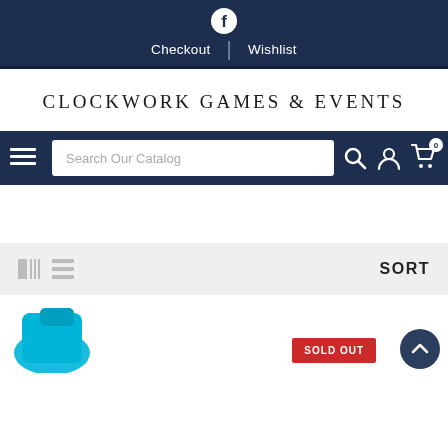Checkout | Wishlist
CLOCKWORK GAMES & EVENTS
Search Our Catalog
SORT
[Figure (photo): Partial view of a blue product at bottom left, with a red SOLD OUT badge and a dark blue scroll-to-top button at bottom right]